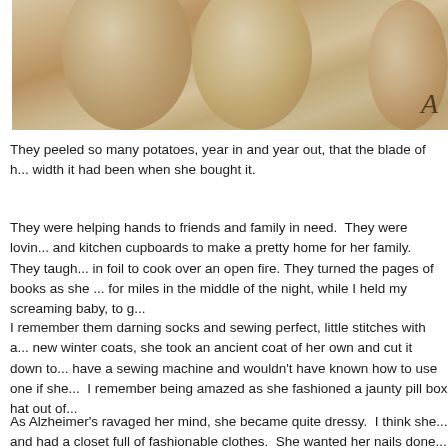[Figure (photo): Close-up photograph of old worn leather baseball gloves or balls with beige/tan coloring, partially cropped on right side. A cursive letter visible in lower right corner.]
They peeled so many potatoes, year in and year out, that the blade of h... width it had been when she bought it.
They were helping hands to friends and family in need.  They were lovin... and kitchen cupboards to make a pretty home for her family.  They taugh... in foil to cook over an open fire. They turned the pages of books as she ... for miles in the middle of the night, while I held my screaming baby, to g...
I remember them darning socks and sewing perfect, little stitches with a... new winter coats, she took an ancient coat of her own and cut it down to... have a sewing machine and wouldn't have known how to use one if she...  I remember being amazed as she fashioned a jaunty pill box hat out of...
As Alzheimer's ravaged her mind, she became quite dressy.  I think she... and had a closet full of fashionable clothes.  She wanted her nails done... give Mom her manicure. Together we sorted through the colours in h...